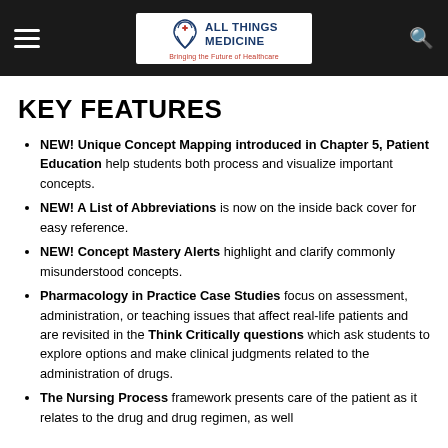All Things Medicine — Bringing the Future of Healthcare
KEY FEATURES
NEW! Unique Concept Mapping introduced in Chapter 5, Patient Education help students both process and visualize important concepts.
NEW! A List of Abbreviations is now on the inside back cover for easy reference.
NEW! Concept Mastery Alerts highlight and clarify commonly misunderstood concepts.
Pharmacology in Practice Case Studies focus on assessment, administration, or teaching issues that affect real-life patients and are revisited in the Think Critically questions which ask students to explore options and make clinical judgments related to the administration of drugs.
The Nursing Process framework presents care of the patient as it relates to the drug and drug regimen, as well